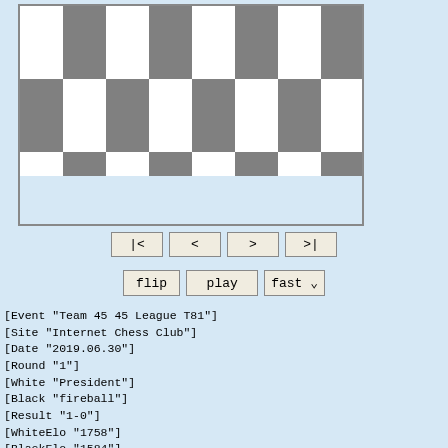[Figure (other): Partial chess board showing top 3 rows of an 8x8 chessboard with alternating white and gray squares, no pieces visible]
|<  <  >  >|  flip  play  fast
[Event "Team 45 45 League T81"]
[Site "Internet Chess Club"]
[Date "2019.06.30"]
[Round "1"]
[White "President"]
[Black "fireball"]
[Result "1-0"]
[WhiteElo "1758"]
[BlackElo "1584"]
[Opening "Nimzovich-Larsen attack: classical variation"]
[ECO "A01"]
[Time "15:01:19"]
[TimeControl "2700+45"]